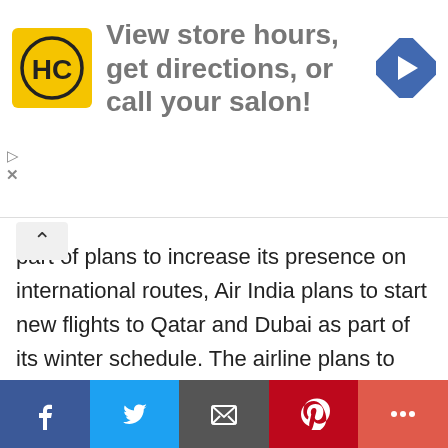[Figure (advertisement): Hair Club (HC) advertisement banner: yellow square logo with HC letters, text 'View store hours, get directions, or call your salon!', blue diamond navigation arrow icon on right]
part of plans to increase its presence on international routes, Air India plans to start new flights to Qatar and Dubai as part of its winter schedule. The airline plans to add four weekly flights from Kolkata, Mumbai and  Delhi to Dubai, multiple company officials told Moneycontrol. The airline is also looking to add six weekly flights between India and Qatar, between Delhi, Mumbai, and Doha, depending on available slots. "Air India is looking to take advantage of the high passenger traffic to Dubai and Qatar due to the FIFA World Cup